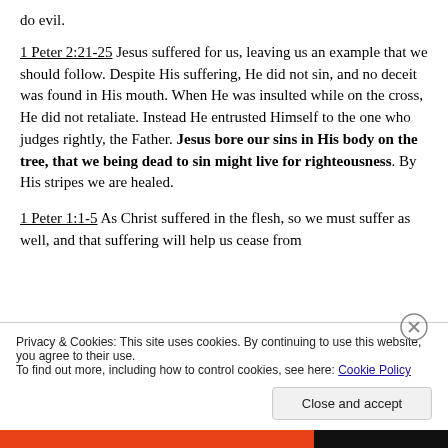do evil.
1 Peter 2:21-25 Jesus suffered for us, leaving us an example that we should follow. Despite His suffering, He did not sin, and no deceit was found in His mouth. When He was insulted while on the cross, He did not retaliate. Instead He entrusted Himself to the one who judges rightly, the Father. Jesus bore our sins in His body on the tree, that we being dead to sin might live for righteousness. By His stripes we are healed.
1 Peter 1:1-5 As Christ suffered in the flesh, so we must suffer as well, and that suffering will help us cease from
Privacy & Cookies: This site uses cookies. By continuing to use this website, you agree to their use. To find out more, including how to control cookies, see here: Cookie Policy
Close and accept